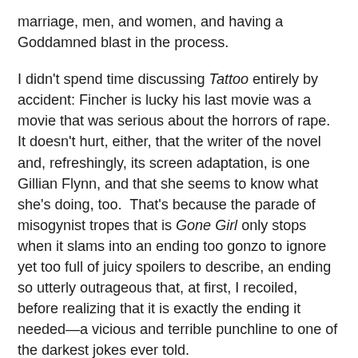marriage, men, and women, and having a Goddamned blast in the process.
I didn't spend time discussing Tattoo entirely by accident: Fincher is lucky his last movie was a movie that was serious about the horrors of rape.  It doesn't hurt, either, that the writer of the novel and, refreshingly, its screen adaptation, is one Gillian Flynn, and that she seems to know what she's doing, too.  That's because the parade of misogynist tropes that is Gone Girl only stops when it slams into an ending too gonzo to ignore yet too full of juicy spoilers to describe, an ending so utterly outrageous that, at first, I recoiled, before realizing that it is exactly the ending it needed—a vicious and terrible punchline to one of the darkest jokes ever told.
While declaring loudly that, "Hey! This movie's about gender politics!" possibly sounds like code for "Hey, this moving is boring," I'll simply make the modest point that one of the most deliberately gender-political movies ever made is Silence of the Lambs.  So, knowing that, know also that when I tell you that Gone Girl is the tale of a marriage gone supremely bad, you don't have to check out while some